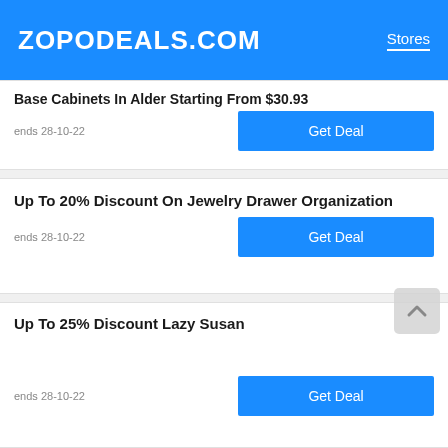ZOPODEALS.COM | Stores
Base Cabinets In Alder Starting From $30.93
ends 28-10-22
Up To 20% Discount On Jewelry Drawer Organization
ends 28-10-22
Up To 25% Discount Lazy Susan
ends 28-10-22